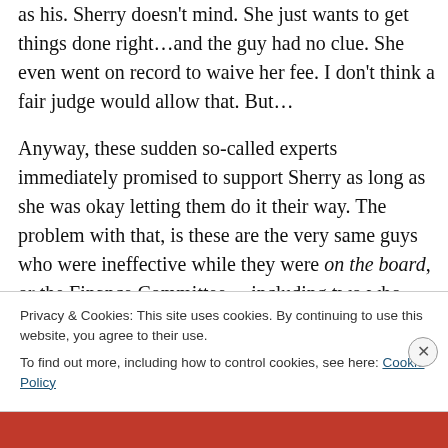as his. Sherry doesn't mind. She just wants to get things done right…and the guy had no clue. She even went on record to waive her fee. I don't think a fair judge would allow that. But…
Anyway, these sudden so-called experts immediately promised to support Sherry as long as she was okay letting them do it their way. The problem with that, is these are the very same guys who were ineffective while they were on the board, or the Finance Committee….including two who specialized in leaving their wives alone, so they could never monitor the dining room
Privacy & Cookies: This site uses cookies. By continuing to use this website, you agree to their use.
To find out more, including how to control cookies, see here: Cookie Policy
Close and accept